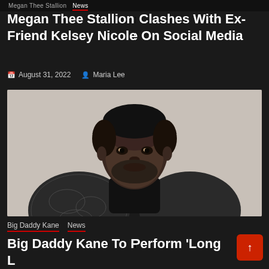Megan Thee Stallion · News
Megan Thee Stallion Clashes With Ex-Friend Kelsey Nicole On Social Media
August 31, 2022  Maria Lee
[Figure (photo): Man in a black turtleneck and snake-skin patterned blazer, with short hair and beard, looking directly at camera against a light grey background. This is Big Daddy Kane.]
Big Daddy Kane   News
Big Daddy Kane To Perform 'Long Live The Kane' On Ja Rule's App